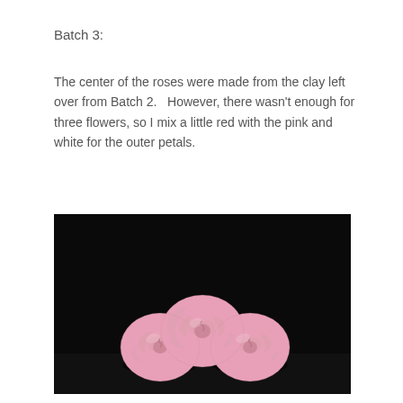Batch 3:
The center of the roses were made from the clay left over from Batch 2.   However, there wasn't enough for three flowers, so I mix a little red with the pink and white for the outer petals.
[Figure (photo): Three pink clay roses arranged together against a black background, with green leaves visible between them. The roses have detailed spiral petal structures and are handmade from polymer clay.]